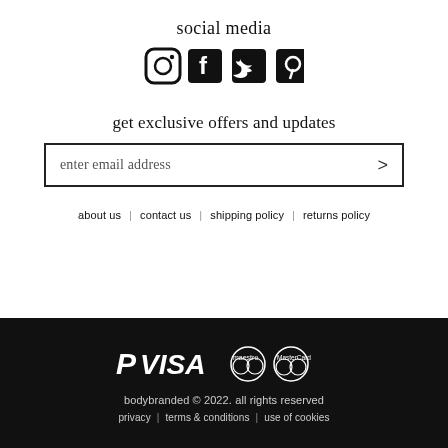social media
[Figure (illustration): Row of four social media icons: Instagram, Facebook, Twitter, Pinterest]
get exclusive offers and updates
enter email address >
about us   contact us   shipping policy   returns policy
[Figure (logo): Payment logos: PayPal, VISA, Maestro, MasterCard in white on black background]
bodybranded © 2022. all rights reserved
privacy | terms & conditions | use of cookies